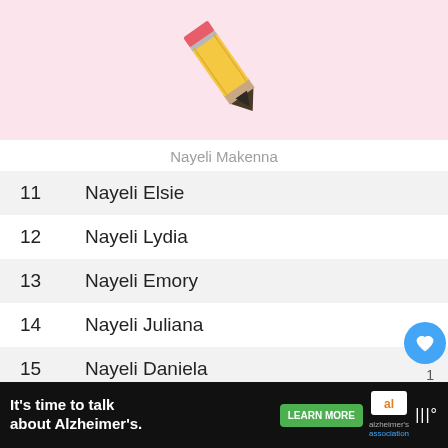[Figure (illustration): Illustration of a yellow pencil on a pink background]
Nayeli Makenna
| # | Name |
| --- | --- |
| 11 | Nayeli Elsie |
| 12 | Nayeli Lydia |
| 13 | Nayeli Emory |
| 14 | Nayeli Juliana |
| 15 | Nayeli Daniela |
| 16 | Nayeli Blakely |
| 17 | Nayeli June |
| 18 | Nayeli Kayla |
[Figure (infographic): Ad bar: It's time to talk about Alzheimer's. LEARN MORE. Alzheimer's Association logo.]